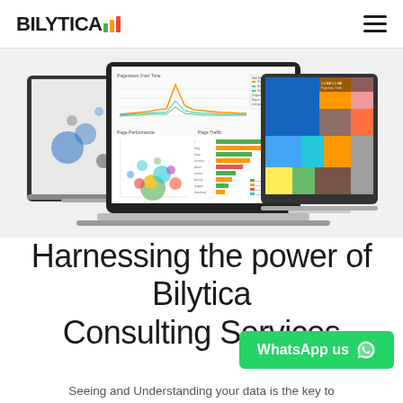BILYTICA [logo with bar chart icon] [hamburger menu]
[Figure (screenshot): Three laptop/monitor screens displaying Bilytica analytics dashboards with line charts, bubble charts, bar charts, and treemap visualizations]
Harnessing the power of Bilytica Consulting Services
Seeing and Understanding your data is the key to